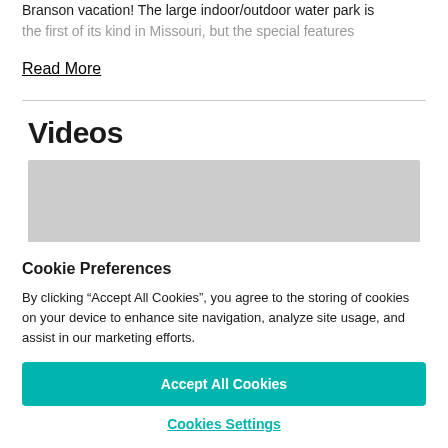Branson vacation! The large indoor/outdoor water park is the first of its kind in Missouri, but the special features
Read More
Videos
[Figure (other): Video placeholder gray rectangle]
Cookie Preferences
By clicking “Accept All Cookies”, you agree to the storing of cookies on your device to enhance site navigation, analyze site usage, and assist in our marketing efforts.
Accept All Cookies
Cookies Settings